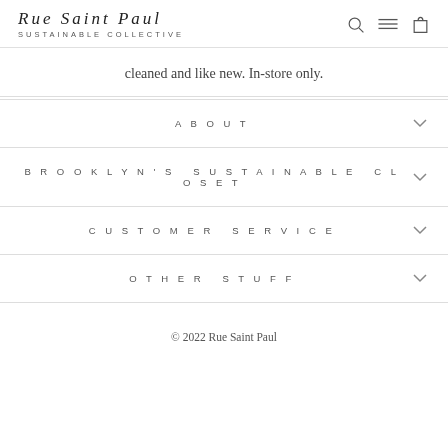Rue Saint Paul Sustainable Collective
cleaned and like new. In-store only.
ABOUT
BROOKLYN'S SUSTAINABLE CLOSET
CUSTOMER SERVICE
OTHER STUFF
© 2022 Rue Saint Paul